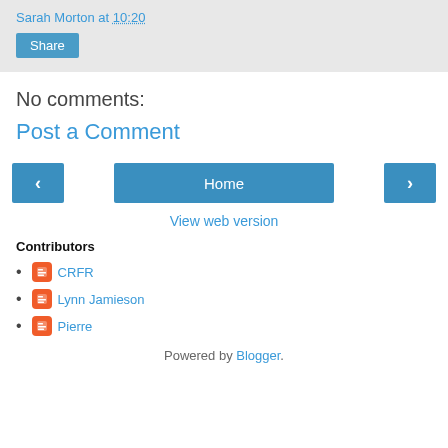Sarah Morton at 10:20
Share
No comments:
Post a Comment
< Home >
View web version
Contributors
CRFR
Lynn Jamieson
Pierre
Powered by Blogger.